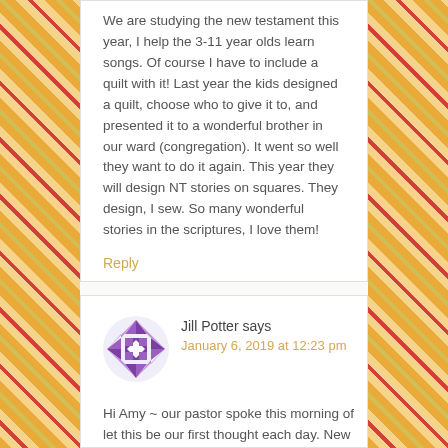We are studying the new testament this year, I help the 3-11 year olds learn songs. Of course I have to include a quilt with it! Last year the kids designed a quilt, choose who to give it to, and presented it to a wonderful brother in our ward (congregation). It went so well they want to do it again. This year they will design NT stories on squares. They design, I sew. So many wonderful stories in the scriptures, I love them!
Reply
[Figure (illustration): Purple quilt-pattern avatar icon for commenter Jill Potter]
Jill Potter says
January 6, 2019 at 12:23 pm
Hi Amy ~ our pastor spoke this morning of let this be our first thought each day. New Mercy, New